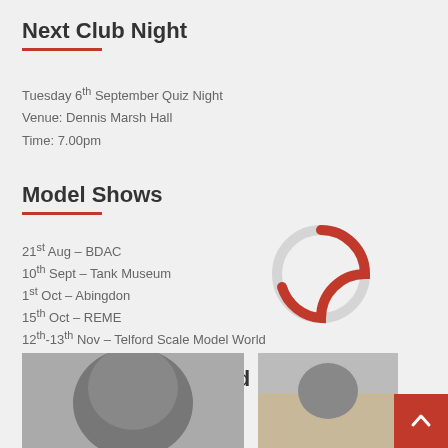Next Club Night
Tuesday 6th September Quiz Night
Venue: Dennis Marsh Hall
Time: 7.00pm
Model Shows
21st Aug – BDAC
10th Sept – Tank Museum
1st Oct – Abingdon
15th Oct – REME
12th-13th Nov – Telford Scale Model World
You may have missed
[Figure (photo): Photo of a dark model/object on a light background]
[Figure (photo): Photo of a person working at a desk or table]